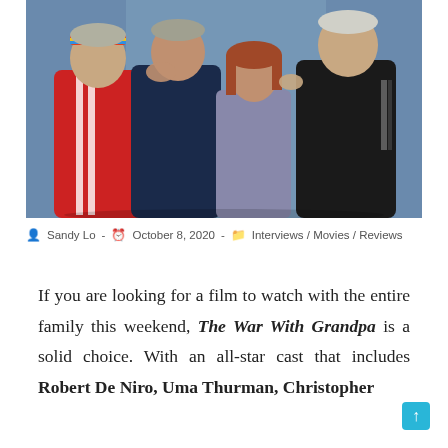[Figure (photo): Four older adults posing together in athletic/casual wear. From left: a man in a red tracksuit with a rainbow headband, a man in a dark blue tracksuit, a woman with reddish-brown hair in a purple-grey top, and a man in a black tracksuit on the right. They are leaning together against a blue background.]
Sandy Lo - October 8, 2020 - Interviews / Movies / Reviews
If you are looking for a film to watch with the entire family this weekend, The War With Grandpa is a solid choice. With an all-star cast that includes Robert De Niro, Uma Thurman, Christopher